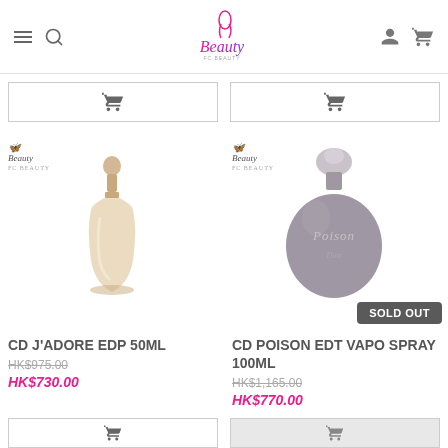Beauty FC Beauty - navigation bar with menu, search, account, cart icons and Beauty logo
[Figure (photo): CD J'Adore EDP 50ML perfume bottle - tall elegant gold bottle with round cap]
[Figure (photo): CD Poison EDT Vapo Spray 100ML perfume bottle - dark purple/grey round apple-shaped bottle with SOLD OUT badge]
CD J'ADORE EDP 50ML
HK$975.00
HK$730.00
CD POISON EDT VAPO SPRAY 100ML
HK$1,165.00
HK$770.00